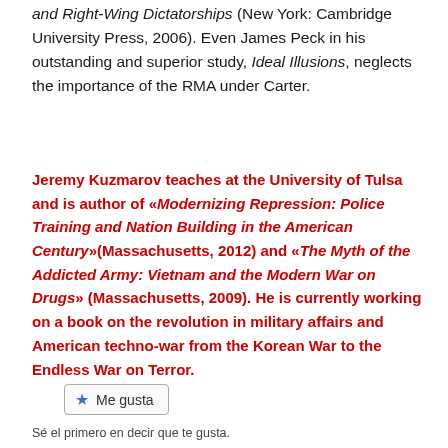and Right-Wing Dictatorships (New York: Cambridge University Press, 2006). Even James Peck in his outstanding and superior study, Ideal Illusions, neglects the importance of the RMA under Carter.
Jeremy Kuzmarov teaches at the University of Tulsa and is author of «Modernizing Repression: Police Training and Nation Building in the American Century»(Massachusetts, 2012) and «The Myth of the Addicted Army: Vietnam and the Modern War on Drugs» (Massachusetts, 2009). He is currently working on a book on the revolution in military affairs and American techno-war from the Korean War to the Endless War on Terror.
[Figure (other): A 'Me gusta' (Like) button widget with a blue star icon and border]
Sé el primero en decir que te gusta.